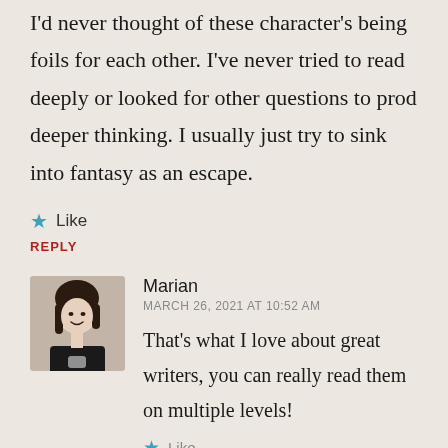I'd never thought of these character's being foils for each other. I've never tried to read deeply or looked for other questions to prod deeper thinking. I usually just try to sink into fantasy as an escape.
★ Like
REPLY
Marian
MARCH 26, 2021 AT 10:52 AM
[Figure (photo): Avatar photo of Marian, a woman with dark hair, smiling slightly, wearing a black top]
That's what I love about great writers, you can really read them on multiple levels!
★ Like